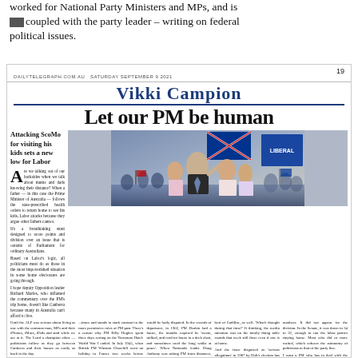worked for National Party Ministers and MPs, and is coupled with the party leader – writing on federal political issues.
DAILYTELEGRAPH.COM.AU  SATURDAY SEPTEMBER 9 2021    19
Vikki Campion
Let our PM be human
Attacking ScoMo for visiting his kids sets a new low for Labor
[Figure (photo): Photo of Scott Morrison and family waving on stage with Australian and Liberal party flags in background, surrounded by cheering crowd]
Are we talking out of our backsides when we talk about mums and dads knowing their distance? When a father — in this case the Prime Minister of Australia — follows the state-prescribed health orders to return home to see his kids, Labor attacks because they argue other fathers cannot. It's a breathtaking stunt designed to score points and division over an issue that is outside of Parliament for ordinary Australians. Based on Labor's logic, all politicians must do as those in the most impoverished situation in some home electorates are going through. I hope deputy Opposition leader Richard Marles, who inflamed the commentary over the PM's trip home, doesn't like Canberra because many in Australia can't afford to live.
Until the ALP was serious about living as one with the common man, MPs and their iPhones, iMacs, iPads and staff while we are at it. The Lend a champion ethos — politicians follow as they go between Canberra and their homes as easily as back in the day.
Half of the Queensland cohort got stuck in the ACT. The reason: they simply could not go and others who make their home may not office and if relations how Gladstone had to end in quarantine camp. During a Parliament where 93 were paid, 45 were not present, and going under quarantine are separate.
...times and stands in stark contrast to the more permissive rules of PM past. There's a reason why PM Billy Hughes spent three days resting on the Yarraman Hotel: World War I ended. In July 1945, when British PM Winston Churchill went on holiday to France two weeks before World War II ended, the press reported that he visited the Riviera as far as possible impossible. The Prime Minister's whereabouts will not be made public.
When PM Alfred Deakin, in 1902, was told to rest for nervous exhaustion, his opposition leader Sir...
would be hotly disputed. In the records of departures, in 1902, PM Deakin had a house, that months reported he 'swam, milked, and read for hours in a deck chair, and sometimes used the long walks at peace'. When Nationals leader Doug Anthony was asking PM from distances in touch-free visits at the family, his family, it was celebrating. And as deputy over 12 years, he acted as PM on some than 25 occasions, asked on media more than any 'real' prime minister at the time, his staff claimed. They then him 'tourist' PM Gough Whitlam, who asked the Governor-General...
best of Cadillac, as well. 'What's thought during that time?' If thinking, the media attention was on the family doing table rounds that week still there even if one is at home. And the issue disguised as 'serious allegations' in 1967 by Holt&apos;s election has proved problematic even. A real situation has arisen and respect, empathy, logic and fairness have eroded.
The little discussed issue is that many MPs were in Canberra because Labor attacked the government when a sitting or sitting order for the numbers. It did not appear the division. In the Senate, it was down to 34 to 32, enough to run the labor parties staying home. Most who did or more waited, which reflects the autonomy of politicians to that of the party line.
I want a PM who has to deal with the wife tending her his kids. I want a returns and who has to deal with children and telephone calls, mums and elderly parents. I want politicians' partners to say 'next to you'. Maybe Mr Marles doesn't remember his partners during the kids, or 'When are you coming home, dad?'